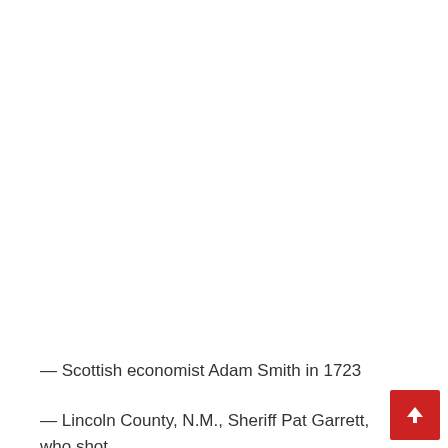— Scottish economist Adam Smith in 1723
— Lincoln County, N.M., Sheriff Pat Garrett, who shot